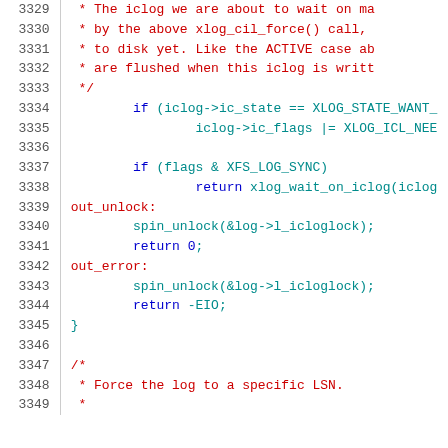Source code listing, lines 3329-3349, C kernel code with line numbers and syntax highlighting